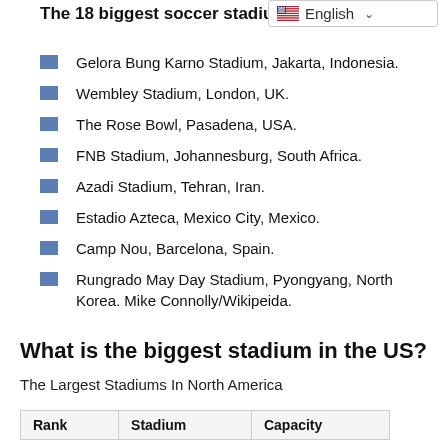The 18 biggest soccer stadiums
[Figure (other): Language selector button showing US flag and 'English' with dropdown chevron]
Gelora Bung Karno Stadium, Jakarta, Indonesia.
Wembley Stadium, London, UK.
The Rose Bowl, Pasadena, USA.
FNB Stadium, Johannesburg, South Africa.
Azadi Stadium, Tehran, Iran.
Estadio Azteca, Mexico City, Mexico.
Camp Nou, Barcelona, Spain.
Rungrado May Day Stadium, Pyongyang, North Korea. Mike Connolly/Wikipeida.
What is the biggest stadium in the US?
The Largest Stadiums In North America
| Rank | Stadium | Capacity |
| --- | --- | --- |